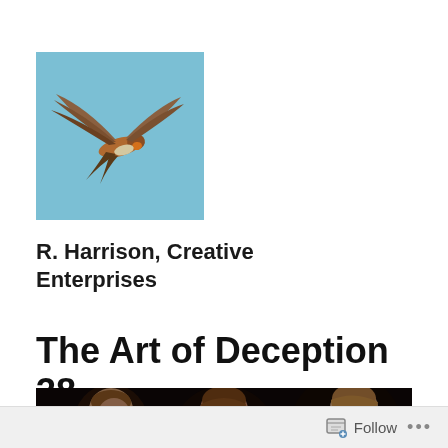[Figure (photo): A swallow or barn swallow in flight against a light blue sky background, wings spread wide, captured mid-flight from below/side angle.]
R. Harrison, Creative Enterprises
The Art of Deception 38
[Figure (photo): A dark classical painting showing children or figures with reddish-brown hair, likely a detail from an old master painting. Dark background with faces visible.]
Follow ...